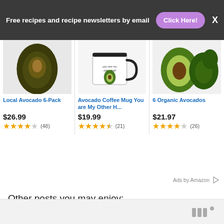Free recipes and recipe newsletters by email  Click Here!  X
[Figure (other): Amazon product card: Local Avocado 6-Pack, $26.99, 4-star rating (48 reviews)]
[Figure (other): Amazon product card: Avocado Coffee Mug You are My Other H..., $19.99, 4.5-star rating (21 reviews)]
[Figure (other): Amazon product card: 6 Organic Avocados, $21.97, 4-star rating (26 reviews)]
Ads by Amazon
Other posts you may enjoy: